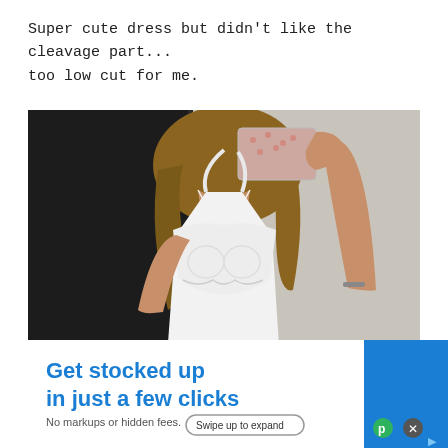Super cute dress but didn't like the cleavage part... too low cut for me.
[Figure (photo): A woman in a fitting room wearing a white spaghetti-strap dress with lace ruffle overlay, taking a mirror selfie with phone covering her face. The background shows a dark door and beige wall.]
[Figure (screenshot): Advertisement overlay reading 'Get stocked up in just a few clicks. No markups or hidden fees.' with a 'Swipe up to expand' button on a blue and white background.]